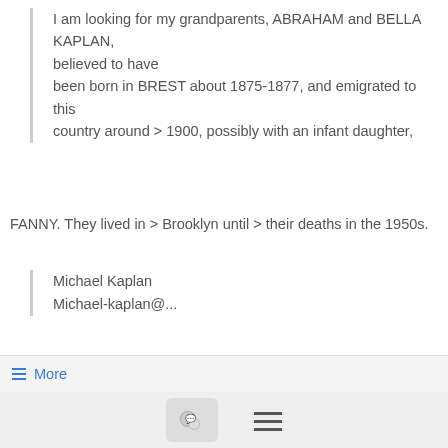I am looking for my grandparents, ABRAHAM and BELLA KAPLAN,
believed to have
been born in BREST about 1875-1877, and emigrated to this
country around > 1900, possibly with an infant daughter,
FANNY. They lived in > Brooklyn until > their deaths in the 1950s.
Michael Kaplan
Michael-kaplan@...
≡ More
Belarus SIG //Belarus Bay M Kaplan's family
[Figure (other): Bottom navigation bar with chat bubble icon and hamburger menu icon]